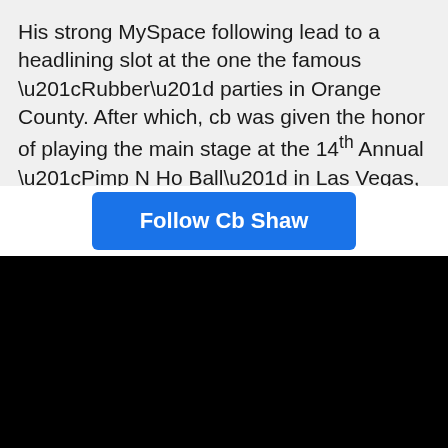His strong MySpace following lead to a headlining slot at the one the famous “Rubber” parties in Orange County. After which, cb was given the honor of playing the main stage at the 14th Annual “Pimp N Ho Ball” in Las Vegas,
Follow Cb Shaw
[Figure (other): Black rectangle area occupying lower portion of page]